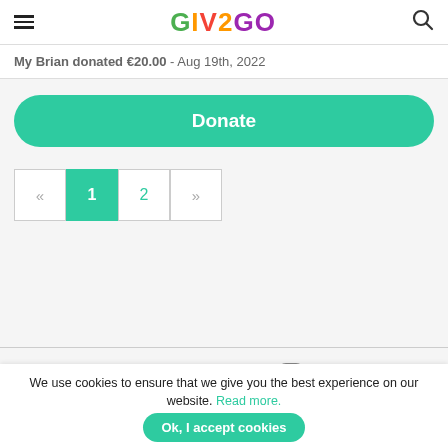GIV2GO
My Brian donated €20.00 - Aug 19th, 2022
Donate
« 1 2 »
[Figure (infographic): Social media icons: Facebook, Twitter, Instagram]
We use cookies to ensure that we give you the best experience on our website. Read more.  Ok, I accept cookies